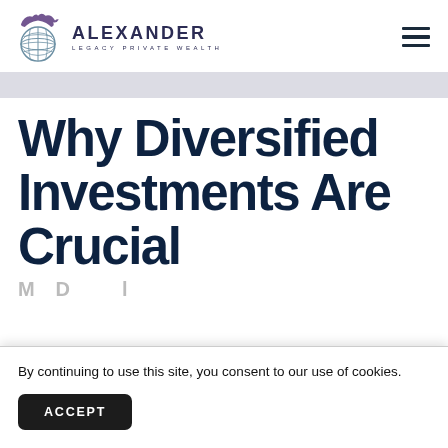ALEXANDER LEGACY PRIVATE WEALTH
Why Diversified Investments Are Crucial
By continuing to use this site, you consent to our use of cookies.